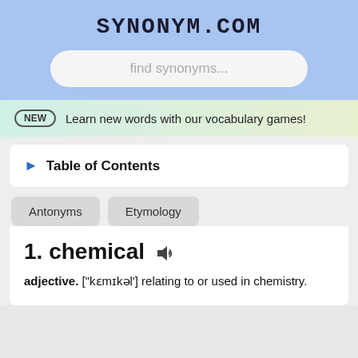SYNONYM.COM
find synonyms...
NEW  Learn new words with our vocabulary games!
Table of Contents
Antonyms
Etymology
1. chemical
adjective. ["kɛmɪkəl'] relating to or used in chemistry.